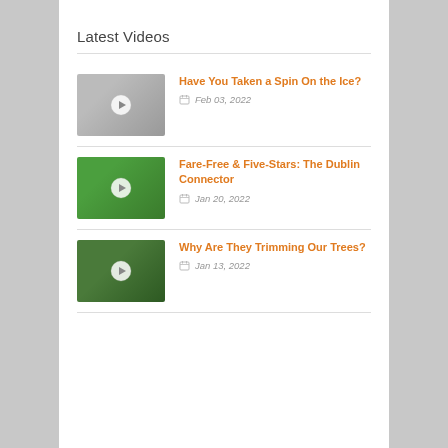Latest Videos
Have You Taken a Spin On the Ice? — Feb 03, 2022
Fare-Free & Five-Stars: The Dublin Connector — Jan 20, 2022
Why Are They Trimming Our Trees? — Jan 13, 2022